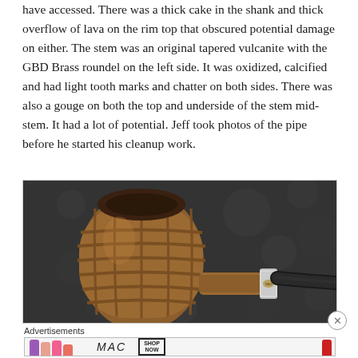have accessed. There was a thick cake in the shank and thick overflow of lava on the rim top that obscured potential damage on either. The stem was an original tapered vulcanite with the GBD Brass roundel on the left side. It was oxidized, calcified and had light tooth marks and chatter on both sides. There was also a gouge on both the top and underside of the stem mid-stem. It had a lot of potential. Jeff took photos of the pipe before he started his cleanup work.
[Figure (photo): Close-up photo of a GBD carved briar tobacco pipe with a textured/rusticated bowl resting on dark grey fleece fabric. The pipe has a tapered black vulcanite stem with a silver band and GBD brass roundel.]
Advertisements
[Figure (screenshot): Advertisement banner for MAC Cosmetics showing colorful lipsticks on the left, MAC logo in center, and a SHOP NOW button on the right.]